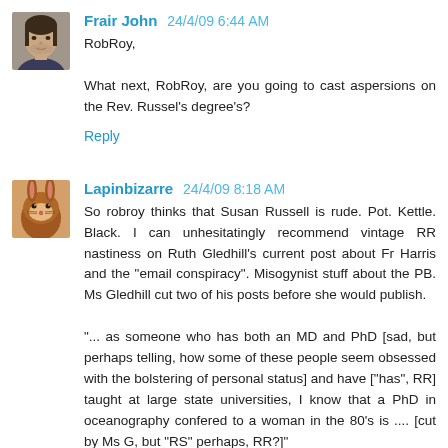[Figure (photo): Avatar photo of Frair John, a man with short dark hair]
Frair John 24/4/09 6:44 AM

RobRoy,

What next, RobRoy, are you going to cast aspersions on the Rev. Russel's degree's?

Reply
[Figure (photo): Avatar photo of Lapinbizarre, a brown rabbit]
Lapinbizarre 24/4/09 8:18 AM

So robroy thinks that Susan Russell is rude. Pot. Kettle. Black. I can unhesitatingly recommend vintage RR nastiness on Ruth Gledhill's current post about Fr Harris and the "email conspiracy". Misogynist stuff about the PB. Ms Gledhill cut two of his posts before she would publish.

"... as someone who has both an MD and PhD [sad, but perhaps telling, how some of these people seem obsessed with the bolstering of personal status] and have ["has", RR] taught at large state universities, I know that a PhD in oceanography confered to a woman in the 80's is .... [cut by Ms G, but "RS" perhaps, RR?]"